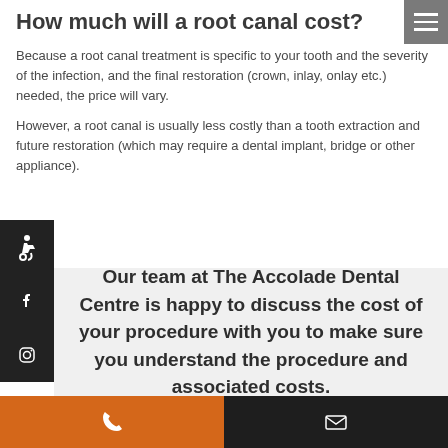How much will a root canal cost?
Because a root canal treatment is specific to your tooth and the severity of the infection, and the final restoration (crown, inlay, onlay etc.) needed, the price will vary.
However, a root canal is usually less costly than a tooth extraction and future restoration (which may require a dental implant, bridge or other appliance).
Our team at The Accolade Dental Centre is happy to discuss the cost of your procedure with you to make sure you understand the procedure and associated costs.